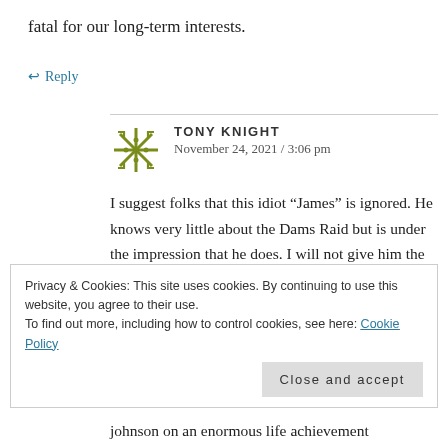fatal for our long-term interests.
↩ Reply
TONY KNIGHT
November 24, 2021 / 3:06 pm
I suggest folks that this idiot “James” is ignored. He knows very little about the Dams Raid but is under the impression that he does. I will not give him the platform he desires to spread garbage of the highest order. He claims to speak for several people
Privacy & Cookies: This site uses cookies. By continuing to use this website, you agree to their use.
To find out more, including how to control cookies, see here: Cookie Policy
Close and accept
johnson on an enormous life achievement